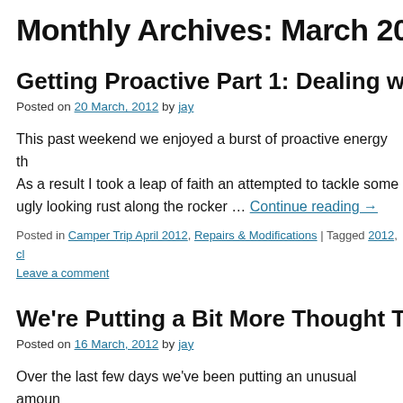Monthly Archives: March 2012
Getting Proactive Part 1: Dealing with the Rus…
Posted on 20 March, 2012 by jay
This past weekend we enjoyed a burst of proactive energy th… As a result I took a leap of faith an attempted to tackle some… ugly looking rust along the rocker … Continue reading →
Posted in Camper Trip April 2012, Repairs & Modifications | Tagged 2012, cl… Leave a comment
We're Putting a Bit More Thought Than Usual…
Posted on 16 March, 2012 by jay
Over the last few days we've been putting an unusual amoun… be driving in April. Our Lonely Planet and Rough Guide arriv… reading them through, one region a night, … Continue readi…